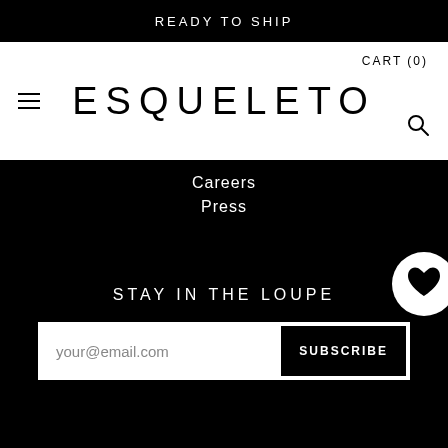READY TO SHIP
CART (0)
ESQUELETO
Careers
Press
STAY IN THE LOUPE
your@email.com
SUBSCRIBE